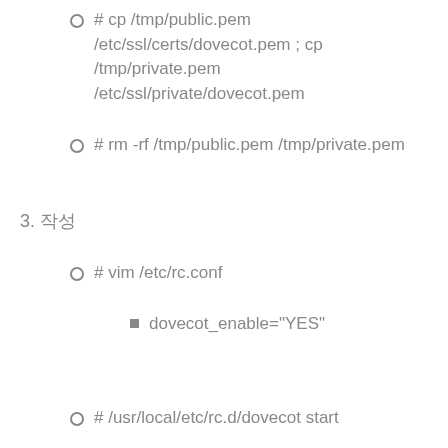# cp /tmp/public.pem /etc/ssl/certs/dovecot.pem ; cp /tmp/private.pem /etc/ssl/private/dovecot.pem
# rm -rf /tmp/public.pem /tmp/private.pem
3. 시작
# vim /etc/rc.conf
dovecot_enable="YES"
# /usr/local/etc/rc.d/dovecot start